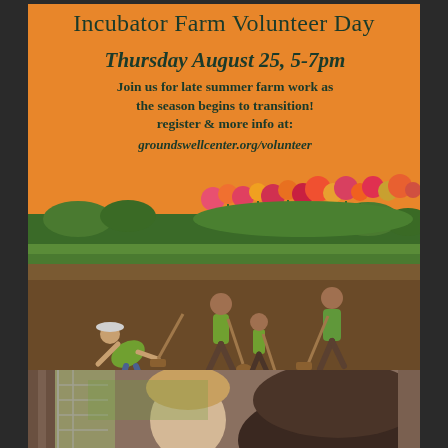Incubator Farm Volunteer Day
Thursday August 25, 5-7pm
Join us for late summer farm work as the season begins to transition! register & more info at: groundswellcenter.org/volunteer
[Figure (photo): People in green shirts working in a farm field with shovels, colorful flowers in the background, orange sky above]
[Figure (photo): Two people working inside a barn or farm structure]